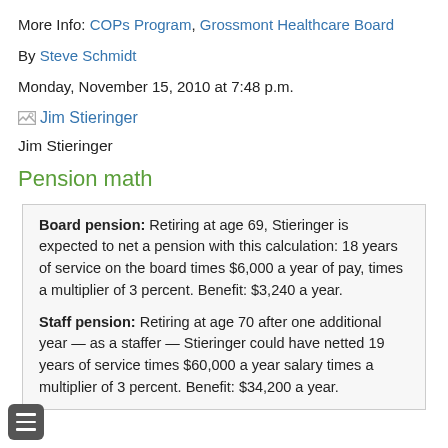More Info: COPs Program, Grossmont Healthcare Board
By Steve Schmidt
Monday, November 15, 2010 at 7:48 p.m.
[Figure (photo): Broken image placeholder labeled 'Jim Stieringer']
Jim Stieringer
Pension math
Board pension: Retiring at age 69, Stieringer is expected to net a pension with this calculation: 18 years of service on the board times $6,000 a year of pay, times a multiplier of 3 percent. Benefit: $3,240 a year.
Staff pension: Retiring at age 70 after one additional year — as a staffer — Stieringer could have netted 19 years of service times $60,000 a year salary times a multiplier of 3 percent. Benefit: $34,200 a year.